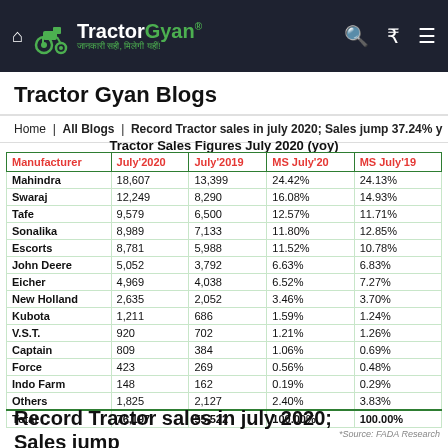TractorGyan - जानकारी सही, मिलेगी यहीं!
Tractor Gyan Blogs
Home | All Blogs | Record Tractor sales in july 2020; Sales jump 37.24% y
Tractor Sales Figures July 2020 (yoy)
| Manufacturer | July'2020 | July'2019 | MS July'20 | MS July'19 |
| --- | --- | --- | --- | --- |
| Mahindra | 18,607 | 13,399 | 24.42% | 24.13% |
| Swaraj | 12,249 | 8,290 | 16.08% | 14.93% |
| Tafe | 9,579 | 6,500 | 12.57% | 11.71% |
| Sonalika | 8,989 | 7,133 | 11.80% | 12.85% |
| Escorts | 8,781 | 5,988 | 11.52% | 10.78% |
| John Deere | 5,052 | 3,792 | 6.63% | 6.83% |
| Eicher | 4,969 | 4,038 | 6.52% | 7.27% |
| New Holland | 2,635 | 2,052 | 3.46% | 3.70% |
| Kubota | 1,211 | 686 | 1.59% | 1.24% |
| V.S.T. | 920 | 702 | 1.21% | 1.26% |
| Captain | 809 | 384 | 1.06% | 0.69% |
| Force | 423 | 269 | 0.56% | 0.48% |
| Indo Farm | 148 | 162 | 0.19% | 0.29% |
| Others | 1,825 | 2,127 | 2.40% | 3.83% |
| Total | 76,197 | 55,522 | 100.00% | 100.00% |
*Source: FADA Research
Record Tractor sales in july 2020; Sales jump